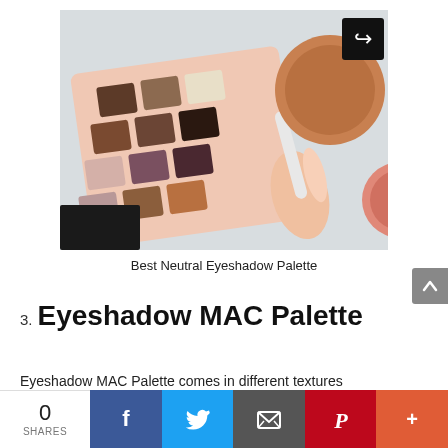[Figure (photo): An eyeshadow palette with neutral tones arranged in a 4x3 grid with peach/pink border, surrounded by brushes and other makeup products on a light gray surface. A share icon button overlays the top-right corner of the image.]
Best Neutral Eyeshadow Palette
3. Eyeshadow MAC Palette
Eyeshadow MAC Palette comes in different textures
0 SHARES
[Figure (infographic): Social sharing bar with Facebook, Twitter, Email, Pinterest, and More buttons]